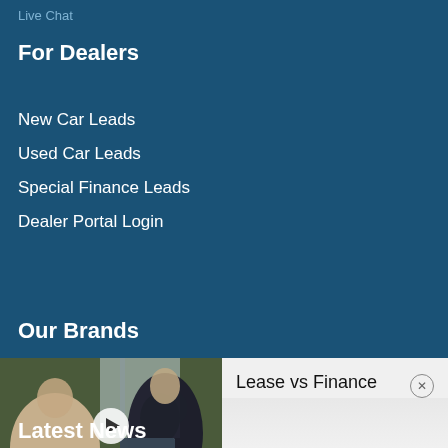Live Chat
For Dealers
New Car Leads
Used Car Leads
Special Finance Leads
Dealer Portal Login
Our Brands
[Figure (photo): Video thumbnail showing two people at a desk with a laptop, one appearing to be a financial advisor and the other a client. A play button is overlaid in the center.]
Lease vs Finance
Latest News